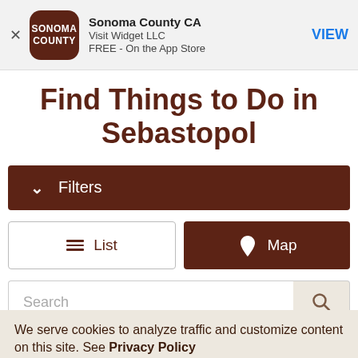[Figure (screenshot): App store banner for Sonoma County CA app by Visit Widget LLC, free on the App Store, with brown rounded square icon showing SONOMA COUNTY text, and a blue VIEW button]
Find Things to Do in Sebastopol
Filters (dropdown button)
List | Map (toggle buttons)
Search (search bar with search icon)
We serve cookies to analyze traffic and customize content on this site. See Privacy Policy